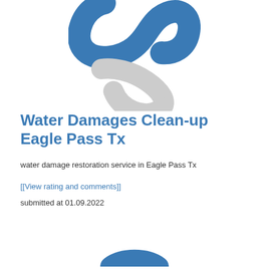[Figure (logo): Blue and grey stylized logo mark — an abstract curved shape in blue above its grey reflection/mirror image]
Water Damages Clean-up Eagle Pass Tx
water damage restoration service in Eagle Pass Tx
[[View rating and comments]]
submitted at 01.09.2022
[Figure (logo): Partial blue logo mark visible at bottom of page]